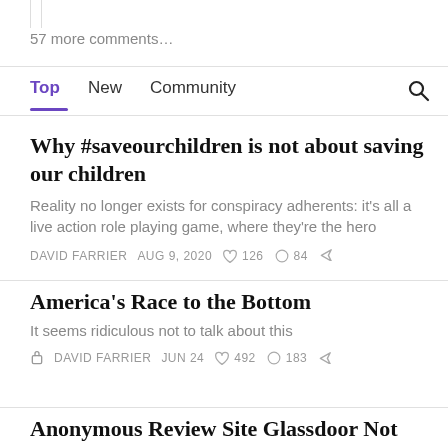57 more comments…
Top   New   Community
Why #saveourchildren is not about saving our children
Reality no longer exists for conspiracy adherents: it's all a live action role playing game, where they're the hero
DAVID FARRIER   AUG 9, 2020   ♡ 126   ○ 84   ↗
America's Race to the Bottom
It seems ridiculous not to talk about this
🔒 DAVID FARRIER   JUN 24   ♡ 492   ○ 183   ↗
Anonymous Review Site Glassdoor Not So…